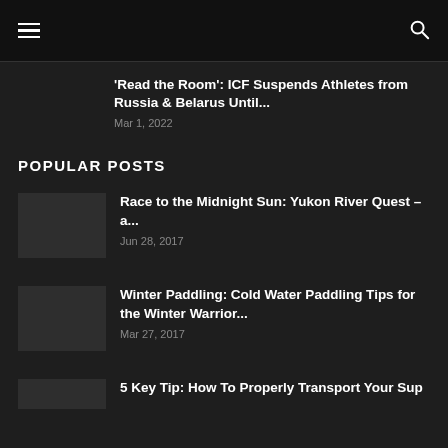Navigation menu and search
'Read the Room': ICF Suspends Athletes from Russia & Belarus Until...
Mar 1, 2022
POPULAR POSTS
Race to the Midnight Sun: Yukon River Quest – a...
Jun 28, 2017
Winter Paddling: Cold Water Paddling Tips for the Winter Warrior...
Mar 27, 2017
5 Key Tip: How To Properly Transport Your Sup